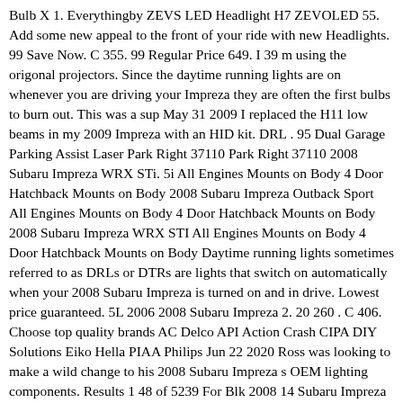Bulb X 1. Everythingby ZEVS LED Headlight H7 ZEVOLED 55. Add some new appeal to the front of your ride with new Headlights. 99 Save Now. C 355. 99 Regular Price 649. I 39 m using the origonal projectors. Since the daytime running lights are on whenever you are driving your Impreza they are often the first bulbs to burn out. This was a sup May 31 2009 I replaced the H11 low beams in my 2009 Impreza with an HID kit. DRL . 95 Dual Garage Parking Assist Laser Park Right 37110 Park Right 37110 2008 Subaru Impreza WRX STi. 5i All Engines Mounts on Body 4 Door Hatchback Mounts on Body 2008 Subaru Impreza Outback Sport All Engines Mounts on Body 4 Door Hatchback Mounts on Body 2008 Subaru Impreza WRX STI All Engines Mounts on Body 4 Door Hatchback Mounts on Body Daytime running lights sometimes referred to as DRLs or DTRs are lights that switch on automatically when your 2008 Subaru Impreza is turned on and in drive. Lowest price guaranteed. 5L 2006 2008 Subaru Impreza 2. 20 260 . C 406. Choose top quality brands AC Delco API Action Crash CIPA DIY Solutions Eiko Hella PIAA Philips Jun 22 2020 Ross was looking to make a wild change to his 2008 Subaru Impreza s OEM lighting components. Results 1 48 of 5239 For Blk 2008 14 Subaru Impreza WRX Halogen Model LED DRL Projector Headlights. Free shipping on many items Browse your favorite brands affordable prices. Buy Spec D Tuning For 2008 2014 Subaru Impreza Wrx 08 11 Outback Sport Projector Headlights Led Left Right 2008 2009 2010 2011 2012 2013 2014 with fast shipping Shop 2009 Subaru Impreza Replacement Light